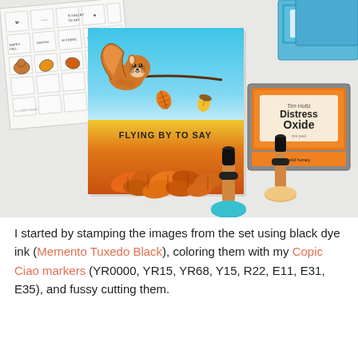[Figure (photo): Overhead photo of craft supplies on a white surface: a clear stamp sheet (top left), a handmade greeting card featuring a flying squirrel, autumn leaves, and the text 'FLYING BY TO SAY' with a blue-to-orange gradient background (center), two blue Distress Oxide ink pads (top right), one orange Distress Oxide ink pad (right), and two ink blending tools/stumps (bottom right).]
I started by stamping the images from the set using black dye ink (Memento Tuxedo Black), coloring them with my Copic Ciao markers (YR0000, YR15, YR68, Y15, R22, E11, E31, E35), and fussy cutting them.